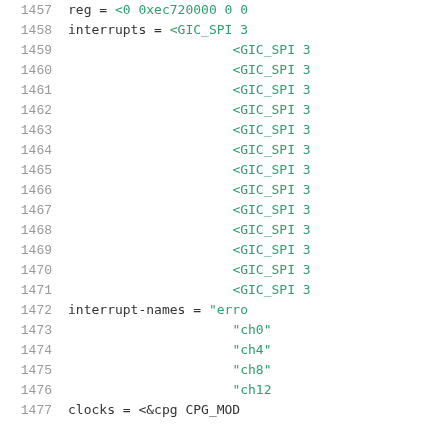1457    reg = <0 0xec720000 0 0
1458    interrupts = <GIC_SPI 3
1459                 <GIC_SPI 3
1460                 <GIC_SPI 3
1461                 <GIC_SPI 3
1462                 <GIC_SPI 3
1463                 <GIC_SPI 3
1464                 <GIC_SPI 3
1465                 <GIC_SPI 3
1466                 <GIC_SPI 3
1467                 <GIC_SPI 3
1468                 <GIC_SPI 3
1469                 <GIC_SPI 3
1470                 <GIC_SPI 3
1471                 <GIC_SPI 3
1472    interrupt-names = "erro
1473                 "ch0"
1474                 "ch4"
1475                 "ch8"
1476                 "ch12
1477    clocks = <&cpg CPG_MOD